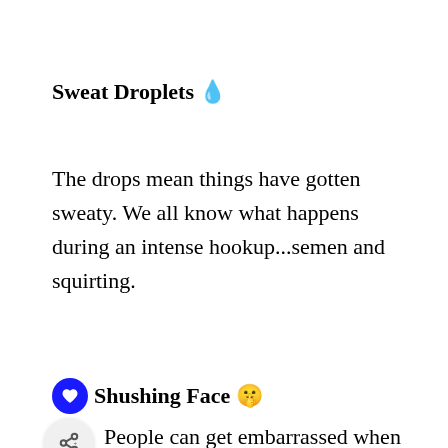Sweat Droplets 💧
The drops mean things have gotten sweaty. We all know what happens during an intense hookup...semen and squirting.
🤫 Shushing Face 🤫
People can get embarrassed when they are